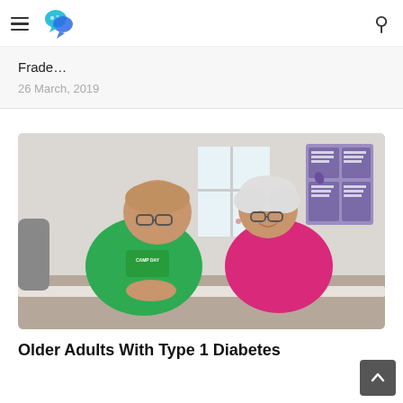Navigation bar with hamburger menu, logo, and search icon
Frade…
26 March, 2019
[Figure (photo): Two older adults, a man wearing a green 'Camp Day' t-shirt and a woman wearing a pink top, sitting at a table and smiling at each other in an indoor setting. A purple informational poster is visible on the wall in the background.]
Older Adults With Type 1 Diabetes